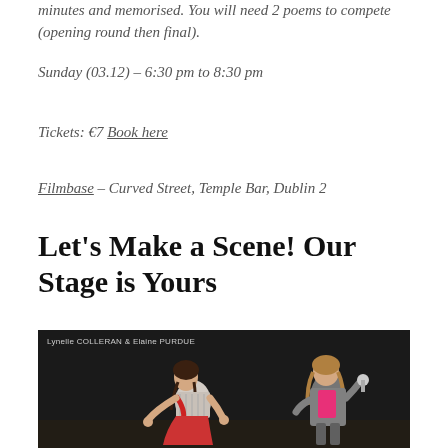minutes and memorised. You will need 2 poems to compete (opening round then final).
Sunday (03.12) – 6:30 pm to 8:30 pm
Tickets: €7 Book here
Filmbase – Curved Street, Temple Bar, Dublin 2
Let's Make a Scene! Our Stage is Yours
[Figure (photo): Two women performing on stage against a dark curtain background. Text overlay reads 'Lynelle COLLERAN & Elaine PURDUE'.]